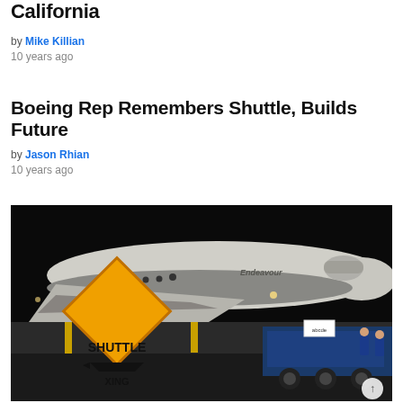California
by Mike Killian
10 years ago
Boeing Rep Remembers Shuttle, Builds Future
by Jason Rhian
10 years ago
[Figure (photo): Space Shuttle Endeavour being transported at night on a street, with a yellow diamond-shaped 'SHUTTLE XING' crossing sign in the foreground and heavy transport vehicles visible in the background. Workers in blue uniforms are visible.]